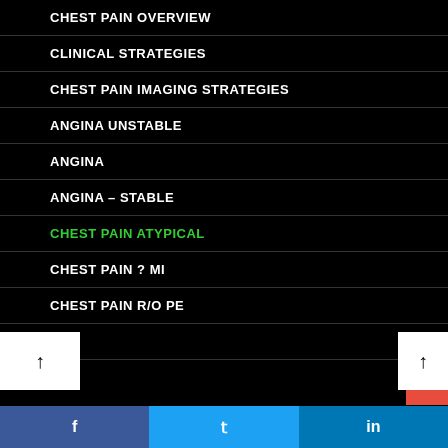CHEST PAIN OVERVIEW
CLINICAL STRATEGIES
CHEST PAIN IMAGING STRATEGIES
ANGINA UNSTABLE
ANGINA
ANGINA – STABLE
CHEST PAIN ATYPICAL
CHEST PAIN ? MI
CHEST PAIN R/O PE
LAB
EKG